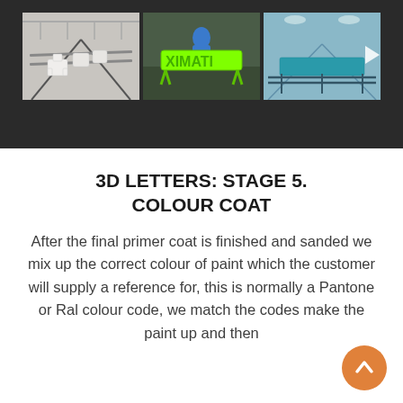[Figure (photo): A photo strip showing three images of 3D letters in a paint shop. Left: white 3D letters laid out on a rack. Center: bright green/lime painted 3D letters on a stand. Right: 3D letters on a rack in a paint booth with blue lighting.]
3D LETTERS: STAGE 5. COLOUR COAT
After the final primer coat is finished and sanded we mix up the correct colour of paint which the customer will supply a reference for, this is normally a Pantone or Ral colour code, we match the codes make the paint up and then